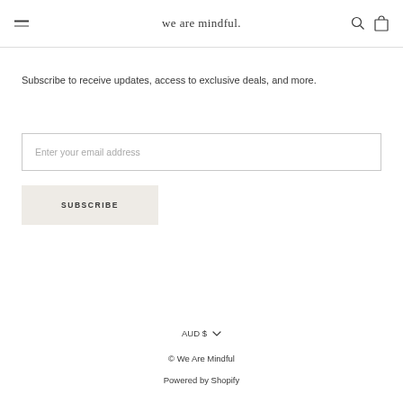we are mindful.
Subscribe to receive updates, access to exclusive deals, and more.
Enter your email address
SUBSCRIBE
AUD $
© We Are Mindful
Powered by Shopify